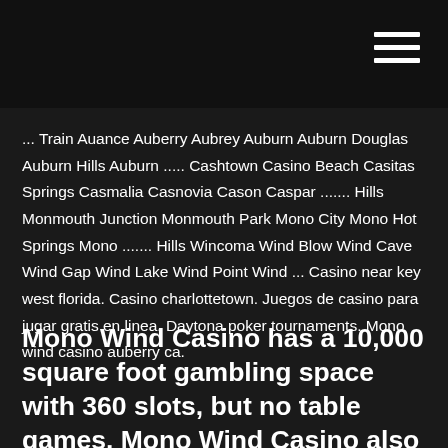... Train Auance Auberry Aubrey Auburn Auburn Douglas Auburn Hills Auburn ..... Cashtown Casino Beach Casitas Springs Casmalia Casnovia Cason Caspar ....... Hills Monmouth Junction Monmouth Park Mono City Mono Hot Springs Mono ....... Hills Wincoma Wind Blow Wind Cave Wind Gap Wind Lake Wind Point Wind ... Casino near key west florida. Casino charlottetown. Juegos de casino para jugar gratis en linea. Daytona poker tournaments. Mono wind casino auberry ca.
Mono Wind Casino has a 10,000 square foot gambling space with 360 slots, but no table games. Mono Wind Casino also has one restaurant. Address Mono Wind Casino 37302 Rancheria Lane Auberry